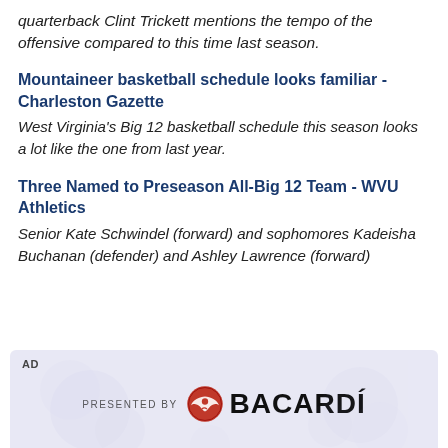quarterback Clint Trickett mentions the tempo of the offensive compared to this time last season.
Mountaineer basketball schedule looks familiar - Charleston Gazette
West Virginia's Big 12 basketball schedule this season looks a lot like the one from last year.
Three Named to Preseason All-Big 12 Team - WVU Athletics
Senior Kate Schwindel (forward) and sophomores Kadeisha Buchanan (defender) and Ashley Lawrence (forward)
[Figure (other): AD banner: PRESENTED BY BACARDI logo with bat icon on light purple floral background]